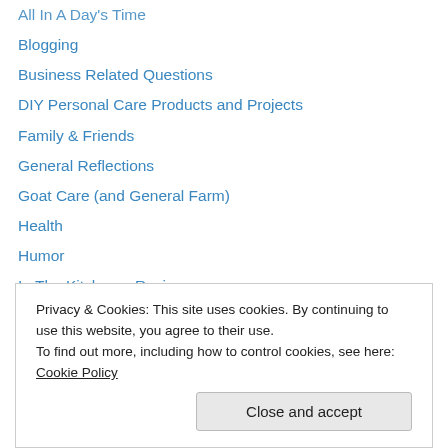All In A Day's Time
Blogging
Business Related Questions
DIY Personal Care Products and Projects
Family & Friends
General Reflections
Goat Care (and General Farm)
Health
Humor
In The Kitchen – Recipes
In The Soap Shop
Inspirations
Natural Perfume
Products
Privacy & Cookies: This site uses cookies. By continuing to use this website, you agree to their use. To find out more, including how to control cookies, see here: Cookie Policy
Close and accept